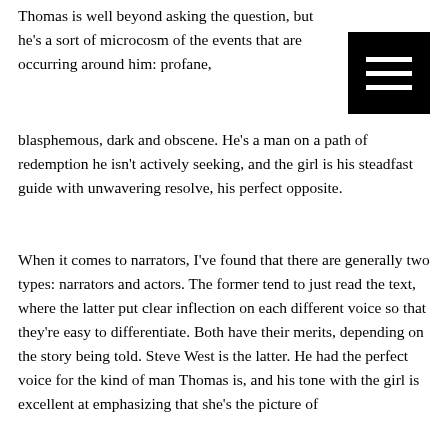Thomas is well beyond asking the question, but he's a sort of microcosm of the events that are occurring around him: profane, blasphemous, dark and obscene. He's a man on a path of redemption he isn't actively seeking, and the girl is his steadfast guide with unwavering resolve, his perfect opposite.
[Figure (other): Black square hamburger menu icon with three white horizontal lines]
When it comes to narrators, I've found that there are generally two types: narrators and actors. The former tend to just read the text, where the latter put clear inflection on each different voice so that they're easy to differentiate. Both have their merits, depending on the story being told. Steve West is the latter. He had the perfect voice for the kind of man Thomas is, and his tone with the girl is excellent at emphasizing that she's the picture of